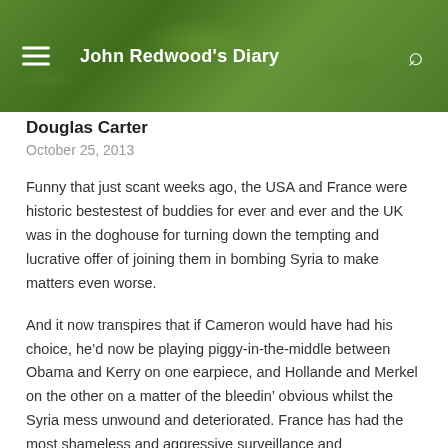John Redwood's Diary
Douglas Carter
October 25, 2013
Funny that just scant weeks ago, the USA and France were historic bestestest of buddies for ever and ever and the UK was in the doghouse for turning down the tempting and lucrative offer of joining them in bombing Syria to make matters even worse.
And it now transpires that if Cameron would have had his choice, he’d now be playing piggy-in-the-middle between Obama and Kerry on one earpiece, and Hollande and Merkel on the other on a matter of the bleedin’ obvious whilst the Syria mess unwound and deteriorated. France has had the most shameless and aggressive surveillance and eavesdropping operation of practically any Western power in